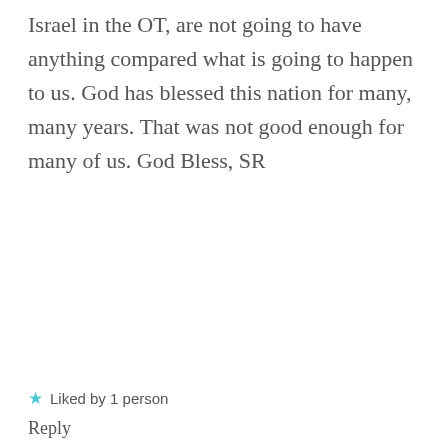Israel in the OT, are not going to have anything compared what is going to happen to us. God has blessed this nation for many, many years. That was not good enough for many of us. God Bless, SR
★ Liked by 1 person
Reply
beautybeyondbones says: August 14, 2017 at 7:23 pm
Thank you for such a powerful
Advertisements
AUTOMATTIC
Build a better web and a better world.